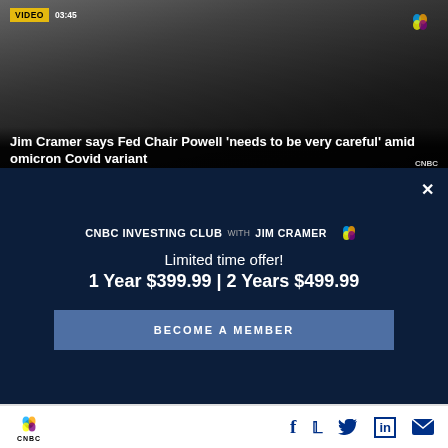[Figure (screenshot): CNBC video thumbnail showing Jim Cramer with VIDEO badge and 03:45 timestamp. Title overlay reads: Jim Cramer says Fed Chair Powell 'needs to be very careful' amid omicron Covid variant]
Cards offering 15, 18 and even 21 months with no interest on transferred balances are “absolutely worth considering for anyone who is deep in debt.”
[Figure (infographic): CNBC Investing Club with Jim Cramer advertisement overlay on dark navy background. Shows: Limited time offer! 1 Year $399.99 | 2 Years $499.99 with BECOME A MEMBER button and X close button]
[Figure (logo): CNBC peacock logo at bottom left with social media icons (Facebook, Twitter, LinkedIn, Email) at bottom right]